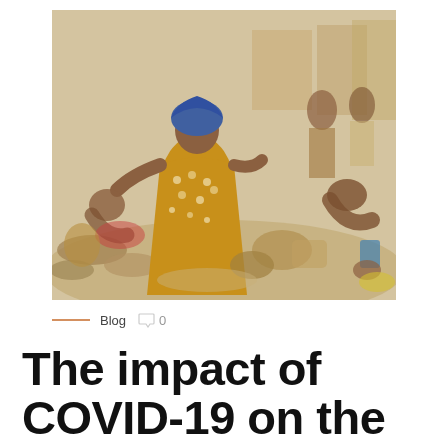[Figure (photo): Outdoor market scene in West Africa showing women vendors in colorful traditional clothing, with goods spread on the ground and various people engaged in trading activities]
— Blog 🗨 0
The impact of COVID-19 on the development of